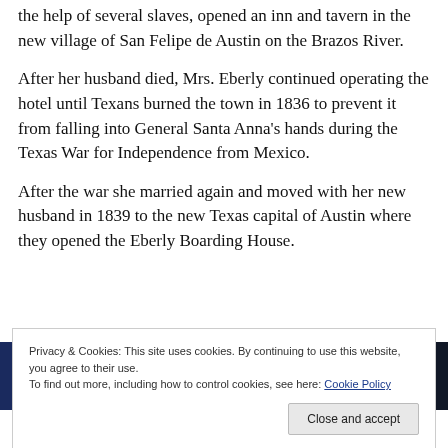the help of several slaves, opened an inn and tavern in the new village of San Felipe de Austin on the Brazos River.
After her husband died, Mrs. Eberly continued operating the hotel until Texans burned the town in 1836 to prevent it from falling into General Santa Anna's hands during the Texas War for Independence from Mexico.
After the war she married again and moved with her new husband in 1839 to the new Texas capital of Austin where they opened the Eberly Boarding House.
[Figure (photo): Partial view of a dark blue/navy image strip with a pink/rose rectangular element and dark triangular shapes on the right side, partially obscured by the cookie consent banner.]
Privacy & Cookies: This site uses cookies. By continuing to use this website, you agree to their use.
To find out more, including how to control cookies, see here: Cookie Policy